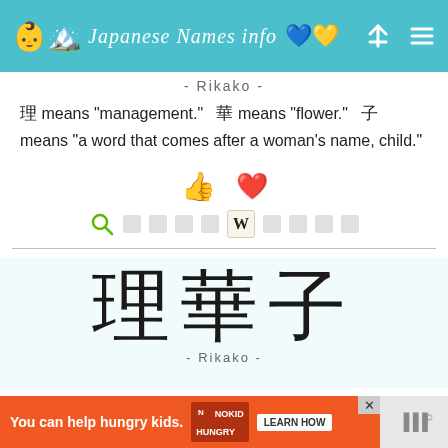Japanese Names info
- Rikako -
理 means "management." 華 means "flower." 子 means "a word that comes after a woman's name, child."
[Figure (screenshot): Search and reference icons row]
理華子
- Rikako -
理 means "management." 華 means "flower." 子 means "a word that comes after a woman's name, child."
[Figure (infographic): Ad banner: You can help hungry kids. No Kid Hungry. Learn How.]